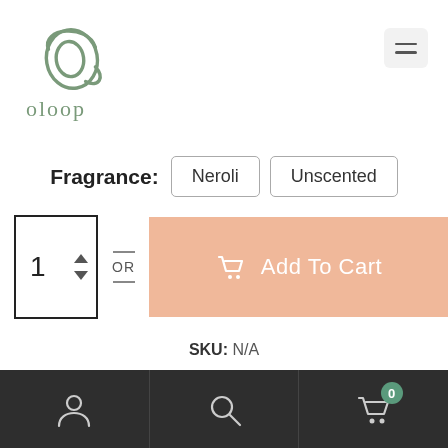[Figure (logo): Oloop brand logo — stylized cursive 'O' monogram in sage green above the word 'oloop' in serif-style green lettering]
[Figure (other): Hamburger menu button (three horizontal lines) in a rounded square]
Fragrance: Neroli Unscented
[Figure (other): Quantity selector showing '1' with up/down arrows, OR divider, and a peach/salmon 'Add To Cart' button with cart icon]
SKU: N/A
Bottom navigation bar with account icon, search icon, and cart icon with badge showing 0